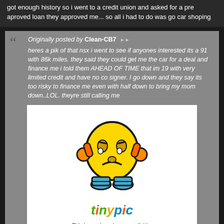got enough history so i went to a credit union and asked for a pre aproved loan they approved me... so all i had to do was go car shoping
Originally posted by Clean-CB7 ▶▶
heres a pik of that nsx i went to see if anyones interested its a 91 with 86k miles. they said they could get me the car for a deal and finance me i told them AHEAD OF TIME that im 19 with very limited credit and have no co signer. I go down and they say its too risky to finance me even with half down to bring my mom down..LOL. theyre still calling me
[Figure (illustration): TinyPic sad face mascot image placeholder. Yellow cartoon sad face character with orange hands on head and blue shoes. Below it says 'tinypic' logo and 'This image is no longer available. Visit tinypic.com for more information.']